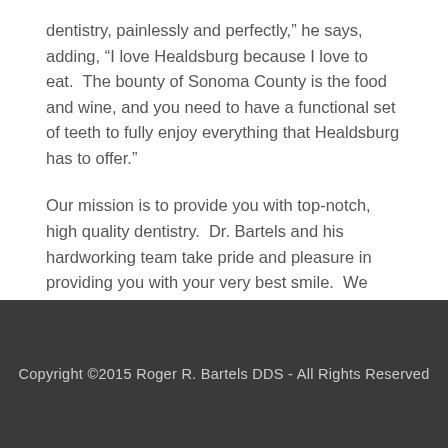dentistry, painlessly and perfectly,” he says, adding, “I love Healdsburg because I love to eat.  The bounty of Sonoma County is the food and wine, and you need to have a functional set of teeth to fully enjoy everything that Healdsburg has to offer.”
Our mission is to provide you with top-notch, high quality dentistry.  Dr. Bartels and his hardworking team take pride and pleasure in providing you with your very best smile.  We look forward to meeting you and providing you with exceptional service and outstanding dental care.
Copyright ©2015 Roger R. Bartels DDS - All Rights Reserved